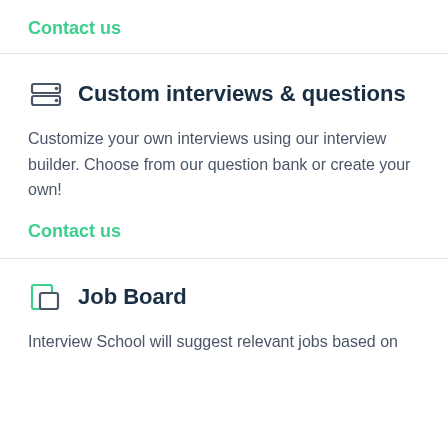Contact us
Custom interviews & questions
Customize your own interviews using our interview builder. Choose from our question bank or create your own!
Contact us
Job Board
Interview School will suggest relevant jobs based on